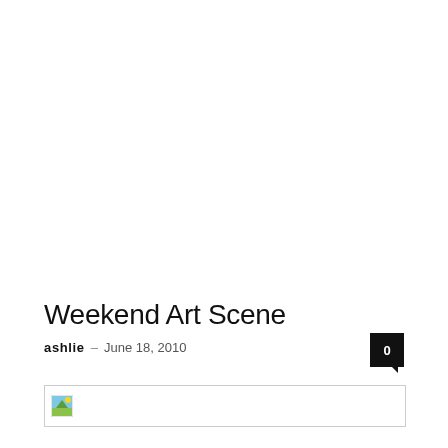Weekend Art Scene
ashlie  –  June 18, 2010
[Figure (other): Broken/missing image placeholder with a small landscape icon in the top-left corner and a thin border rectangle.]